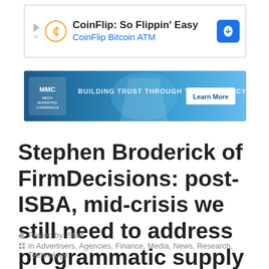[Figure (other): CoinFlip Bitcoin ATM advertisement banner. Text: 'CoinFlip: So Flippin' Easy' and 'CoinFlip Bitcoin ATM' with an arrow icon.]
[Figure (other): Media Marketing Conference banner ad with blue background showing 'BUILDING TRUST THROUGH TRANSPARENCY...' with a Learn More button]
Stephen Broderick of FirmDecisions: post-ISBA, mid-crisis we still need to address programmatic supply chain
Posted by: Staff
in Advertisers, Agencies, Finance, Media, News, Research, Technology